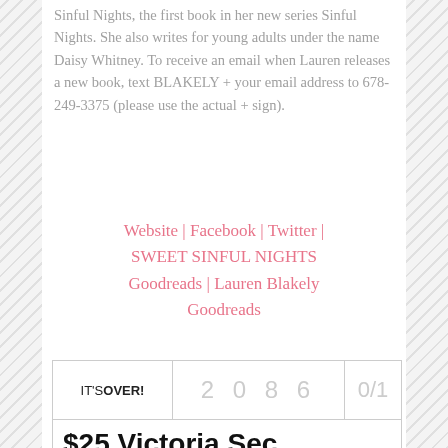Sinful Nights, the first book in her new series Sinful Nights. She also writes for young adults under the name Daisy Whitney. To receive an email when Lauren releases a new book, text BLAKELY + your email address to 678-249-3375 (please use the actual + sign).
Website | Facebook | Twitter | SWEET SINFUL NIGHTS Goodreads | Lauren Blakely Goodreads
| IT'S OVER! | 2086 | 0/1 |
| --- | --- | --- |
| $25 Victoria Sec… |  |  |